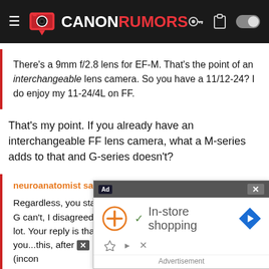Canon Rumors
There's a 9mm f/2.8 lens for EF-M. That's the point of an interchangeable lens camera. So you have a 11/12-24? I do enjoy my 11-24/4L on FF.
That's my point. If you already have an interchangeable FF lens camera, what a M-series adds to that and G-series doesn't?
neuroanatomist said:
Regardless, you stated the M doesn't give you anything the G can't, I disagreed because I use the 11-14mm range a lot. Your reply is that 11mm on APS-C isn't wide enough for you...this, after (incon
Actually the goalpost from the
[Figure (screenshot): Advertisement overlay showing In-store shopping with a plus icon and navigation arrow icon]